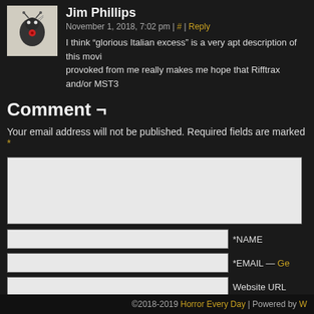Jim Phillips
November 1, 2018, 7:02 pm | # | Reply
I think “glorious Italian excess” is a very apt description of this movi... provoked from me really makes me hope that Rifftrax and/or MST3...
Comment ¬
Your email address will not be published. Required fields are marked *
*NAME
*EMAIL — Ge...
Website URL
Post Comment
Notify me of new posts by email.
©2018-2019 Horror Every Day | Powered by W...